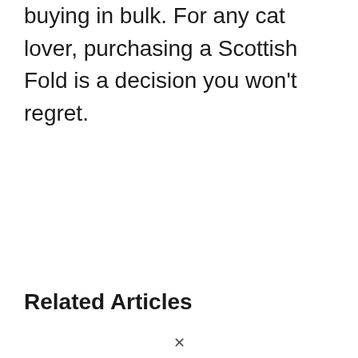buying in bulk. For any cat lover, purchasing a Scottish Fold is a decision you won't regret.
Related Articles